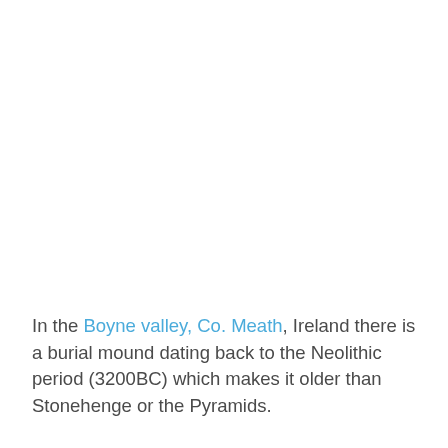In the Boyne valley, Co. Meath, Ireland there is a burial mound dating back to the Neolithic period (3200BC) which makes it older than Stonehenge or the Pyramids.